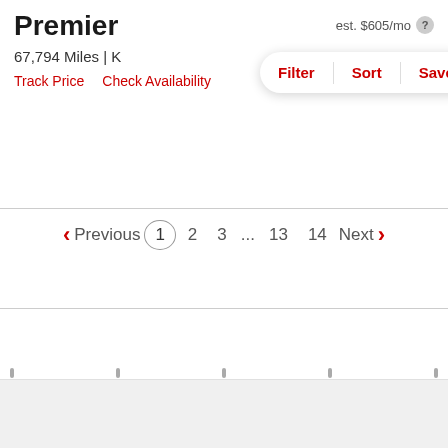Premier
est. $605/mo
67,794 Miles | K
Track Price   Check Availability
[Figure (screenshot): Filter / Sort / Save pill button overlay]
Previous 1 2 3 ... 13 14 Next